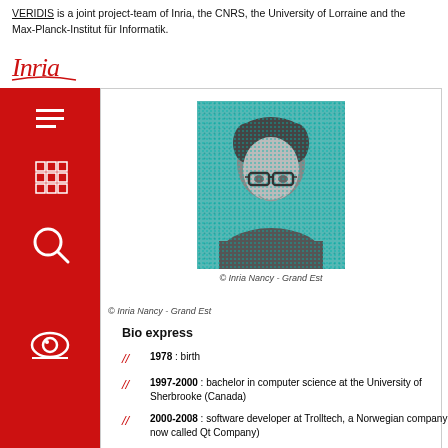VERIDIS is a joint project-team of Inria, the CNRS, the University of Lorraine and the Max-Planck-Institut für Informatik.
[Figure (logo): Inria cursive red logo]
[Figure (photo): Black and white portrait photo of a person with glasses on a teal halftone background. © Inria Nancy - Grand Est]
© Inria Nancy - Grand Est
Bio express
1978 : birth
1997-2000 : bachelor in computer science at the University of Sherbrooke (Canada)
2000-2008 : software developer at Trolltech, a Norwegian company ( now called Qt Company)